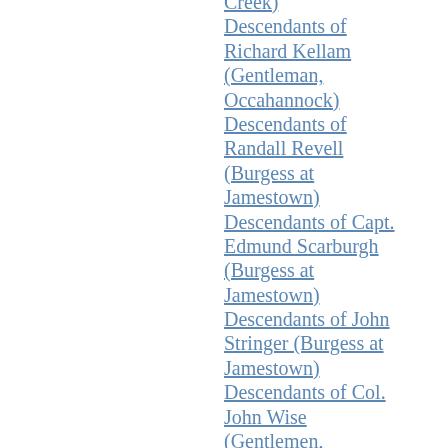Creek) Descendants of Richard Kellam (Gentleman, Occahannock)
Descendants of Randall Revell (Burgess at Jamestown)
Descendants of Capt. Edmund Scarburgh (Burgess at Jamestown)
Descendants of John Stringer (Burgess at Jamestown)
Descendants of Col. John Wise (Gentlemen, Chesconessex)
Descendants of Charlemagne (741-813, King of the Franks & Holy Roman Emperor of the West)